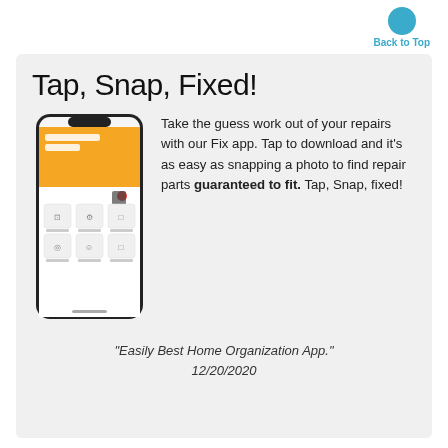Back to Top
Tap, Snap, Fixed!
[Figure (screenshot): Smartphone showing the Fix app with an orange header reading 'Fixed starts here.' and a grid of home appliance repair categories below.]
Take the guess work out of your repairs with our Fix app. Tap to download and it's as easy as snapping a photo to find repair parts guaranteed to fit. Tap, Snap, fixed!
"Easily Best Home Organization App." 12/20/2020